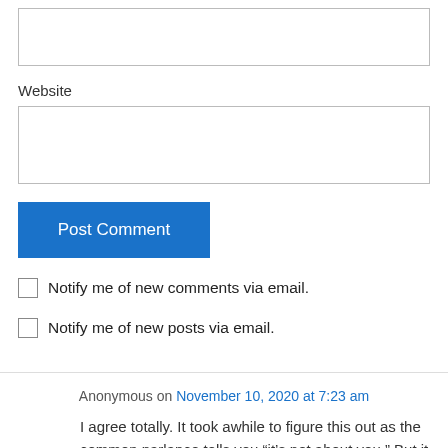[input field - top]
Website
[input field - website]
Post Comment
Notify me of new comments via email.
Notify me of new posts via email.
Anonymous on November 10, 2020 at 7:23 am
I agree totally. It took awhile to figure this out as the common parlance tells you “it’s not about you.” But it is. How I show up, my response, my